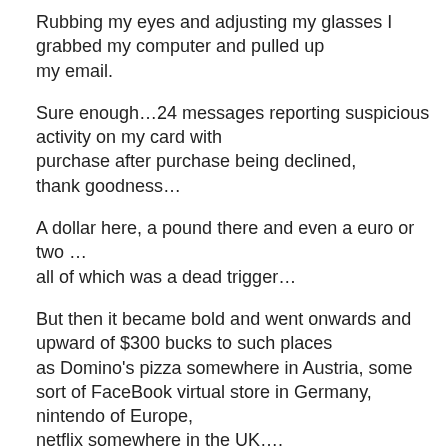Rubbing my eyes and adjusting my glasses I grabbed my computer and pulled up my email.
Sure enough…24 messages reporting suspicious activity on my card with purchase after purchase being declined, thank goodness…
A dollar here, a pound there and even a euro or two … all of which was a dead trigger…
But then it became bold and went onwards and upward of $300 bucks to such places as Domino's pizza somewhere in Austria, some sort of FaceBook virtual store in Germany, nintendo of Europe, netflix somewhere in the UK….